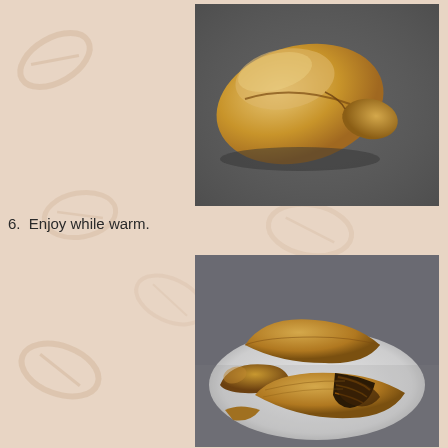[Figure (photo): A baked bread roll on a dark surface, light golden-brown crust, slightly misshapen loaf form.]
6.  Enjoy while warm.
[Figure (photo): Several baked croissant-style rolls on a white plate, one broken open showing a dark chocolate or cinnamon filling inside the flaky layers.]